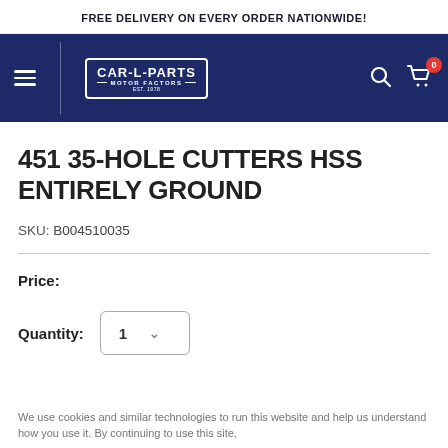FREE DELIVERY ON EVERY ORDER NATIONWIDE!
[Figure (logo): CAR-L-PARTS Motor Factors logo in navy navigation bar with hamburger menu, search icon, and cart icon with badge showing 0]
451 35-HOLE CUTTERS HSS ENTIRELY GROUND
SKU: B004510035
Price:
Quantity: 1
We use cookies and similar technologies to run this website and help us understand how you use it. By continuing to use this site,